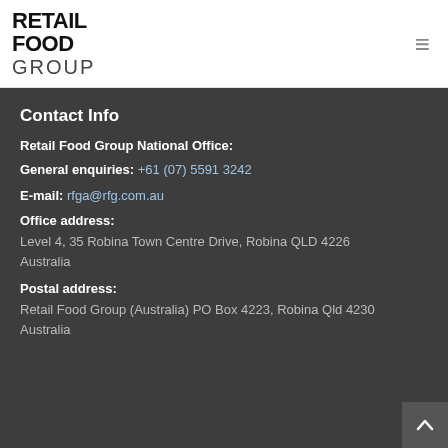[Figure (logo): Retail Food Group logo — bold black text stacked: RETAIL FOOD GROUP]
Contact Info
Retail Food Group National Office:
General enquiries: +61 (07) 5591 3242
E-mail: rfga@rfg.com.au
Office address:
Level 4, 35 Robina Town Centre Drive, Robina QLD 4226 Australia
Postal address:
Retail Food Group (Australia) PO Box 4223, Robina Qld 4230 Australia